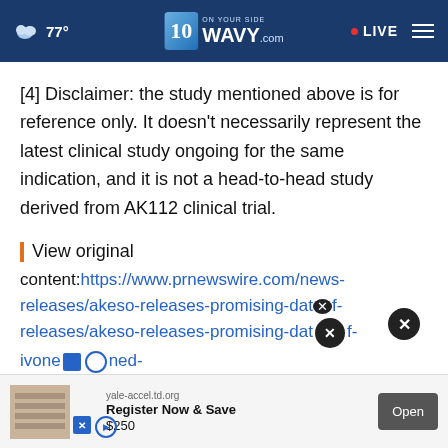☁ 77° | 10 ON YOUR SIDE WAVY.com | • LIVE
[4] Disclaimer: the study mentioned above is for reference only. It doesn't necessarily represent the latest clinical study ongoing for the same indication, and it is not a head-to-head study derived from AK112 clinical trial.
View original content:https://www.prnewswire.com/news-releases/akeso-releases-promising-dat...-of-ivone...-combined-with-chemotherapy-in-advanced-nsclc-at-asco-